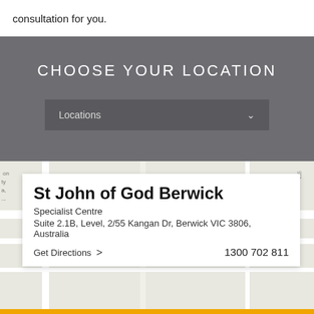consultation for you.
CHOOSE YOUR LOCATION
Locations
[Figure (map): Street map showing the location of St John of God Berwick Specialist Centre]
St John of God Berwick
Specialist Centre
Suite 2.1B, Level, 2/55 Kangan Dr, Berwick VIC 3806, Australia
Get Directions > 1300 702 811